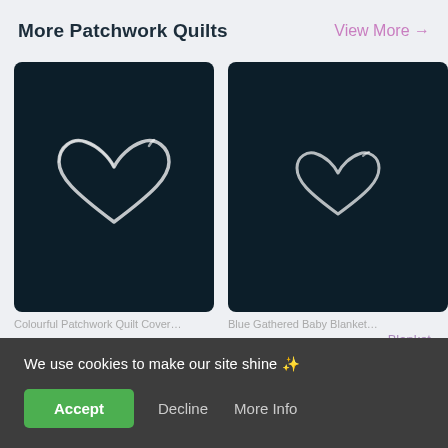More Patchwork Quilts
View More →
[Figure (illustration): Dark teal card with a white outline heart icon in the center, loading/favorite icon style]
[Figure (illustration): Partial dark teal card on the right with a smaller white outline heart icon in the center]
Colourful Patchwork Quilt Cover...
Blue Gathered Baby Blanket... Snuggly... ated)
We use cookies to make our site shine 🌟
Accept
Decline
More Info